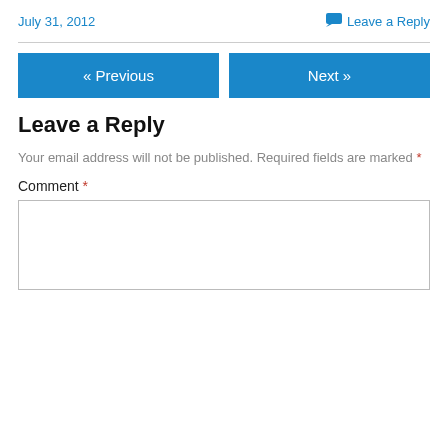July 31, 2012
Leave a Reply
« Previous
Next »
Leave a Reply
Your email address will not be published. Required fields are marked *
Comment *